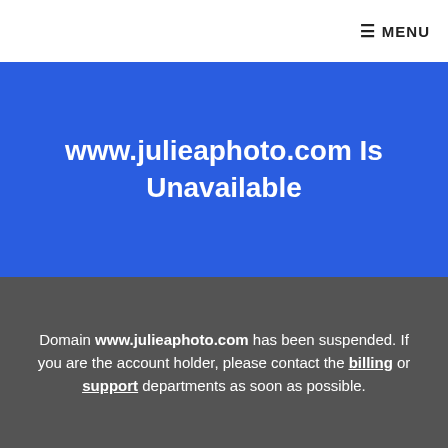☰ MENU
www.julieaphoto.com Is Unavailable
Domain www.julieaphoto.com has been suspended. If you are the account holder, please contact the billing or support departments as soon as possible.